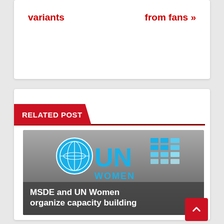variants
from fans »
RELATED POST
[Figure (photo): UN Women logo with globe emblem and blue stylized female symbol, overlaid with text 'MSDE and UN Women organize capacity building']
MSDE and UN Women organize capacity building